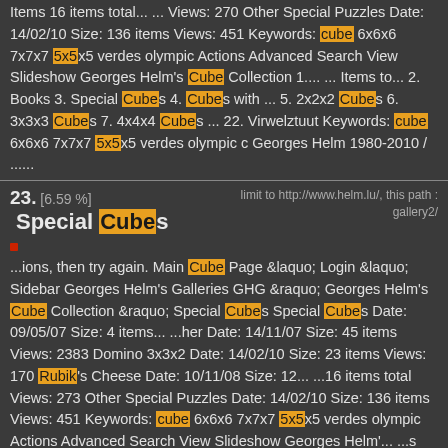Items 16 items total... ... Views: 270 Other Special Puzzles Date: 14/02/10 Size: 136 items Views: 451 Keywords: cube 6x6x6 7x7x7 5x5x5 verdes olympic Actions Advanced Search View Slideshow Georges Helm's Cube Collection 1.... ... Items to... 2. Books 3. Special Cubes 4. Cubes with ... 5. 2x2x2 Cubes 6. 3x3x3 Cubes 7. 4x4x4 Cubes ... 22. Virwelztuut Keywords: cube 6x6x6 7x7x7 5x5x5 verdes olympic c Georges Helm 1980-2010 / ......
23. [6.59 %] Special Cubes - limit to http://www.helm.lu/, this path: gallery2/
...ions, then try again. Main Cube Page &laquo; Login &laquo; Sidebar Georges Helm's Galleries GHG &raquo; Georges Helm's Cube Collection &raquo; Special Cubes Special Cubes Date: 09/05/07 Size: 4 items... ...her Date: 14/11/07 Size: 45 items Views: 2383 Domino 3x3x2 Date: 14/02/10 Size: 23 items Views: 170 Rubik's Cheese Date: 10/11/08 Size: 12... ...16 items total Views: 273 Other Special Puzzles Date: 14/02/10 Size: 136 items Views: 451 Keywords: cube 6x6x6 7x7x7 5x5x5 verdes olympic Actions Advanced Search View Slideshow Georges Helm'... ...s Cube Collection 1. Items to... 2. Books 3. Special Cubes 4. Cubes with ... 5. 2x2x2 Cubes 6. 3x3x3 Cubes 7. 4x4x4 Cubes ... 22. Virwelztuut Keywords: cube 6x6x6 7x7x7 5x5x5 verdes olympic c Georges ...
24. [5.87 %] 3x3x3 Cubes - limit to http://www.helm.lu/, this path: gallery2/